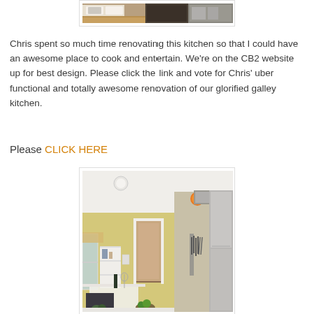[Figure (photo): Top portion of a kitchen renovation photo showing white cabinets and wooden countertops with dark appliances]
Chris spent so much time renovating this kitchen so that I could have an awesome place to cook and entertain. We’re on the CB2 website up for best design. Please click the link and vote for Chris’ uber functional and totally awesome renovation of our glorified galley kitchen.
Please CLICK HERE
[Figure (photo): Kitchen interior with yellow walls, white shelving, a doorway, magnetic knife strip, and dining table in the foreground]